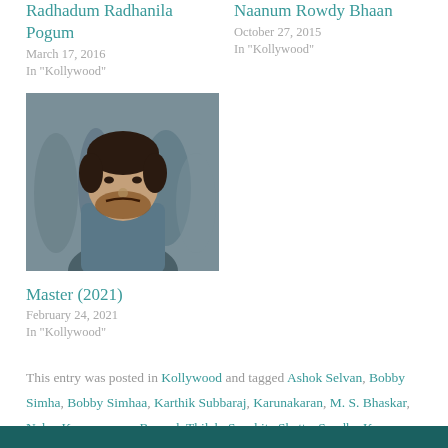Radhadum Radhanila Pogum
March 17, 2016
In "Kollywood"
Naanum Rowdy Bhaan
October 27, 2015
In "Kollywood"
[Figure (photo): A man with beard in a crowd scene, movie still]
Master (2021)
February 24, 2021
In "Kollywood"
This entry was posted in Kollywood and tagged Ashok Selvan, Bobby Simha, Bobby Simhaa, Karthik Subbaraj, Karunakaran, M. S. Bhaskar, Nalan Kumarasamy, Ramesh Thilak, Sanchita Shetty, Soodhu Kavvum, Tamil, Vijay Sethupathi, Yog Japee. Bookmark the permalink.